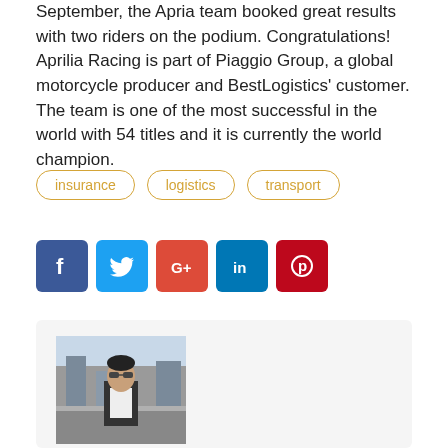September, the Apria team booked great results with two riders on the podium. Congratulations! Aprilia Racing is part of Piaggio Group, a global motorcycle producer and BestLogistics' customer. The team is one of the most successful in the world with 54 titles and it is currently the world champion.
insurance
logistics
transport
[Figure (infographic): Social media share buttons: Facebook (blue), Twitter (light blue), Google+ (red), LinkedIn (dark blue), Pinterest (dark red)]
[Figure (photo): Author photo: a man standing outdoors in an urban environment, wearing sunglasses and a white shirt with a dark jacket]